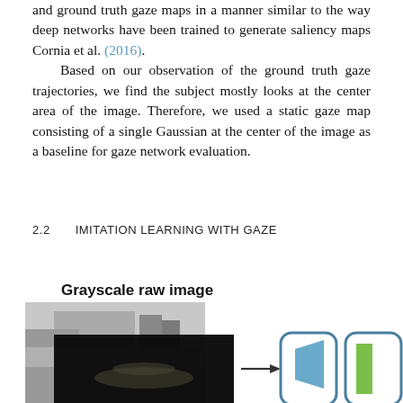and ground truth gaze maps in a manner similar to the way deep networks have been trained to generate saliency maps Cornia et al. (2016).
Based on our observation of the ground truth gaze trajectories, we find the subject mostly looks at the center area of the image. Therefore, we used a static gaze map consisting of a single Gaussian at the center of the image as a baseline for gaze network evaluation.
2.2     IMITATION LEARNING WITH GAZE
[Figure (schematic): A diagram showing a grayscale raw image (a black-and-white photo of a road/building scene with a dark overlay) with an arrow pointing right toward two rounded rectangle boxes containing a blue trapezoid shape and a green vertical bar, representing a neural network or processing pipeline.]